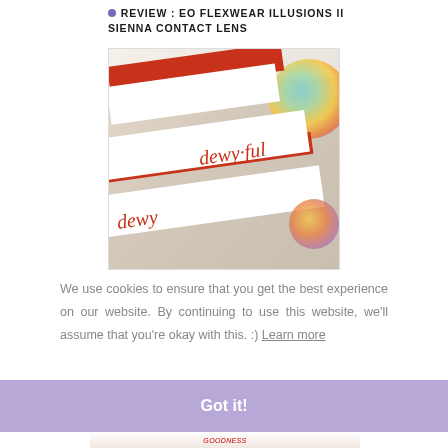REVIEW : EO FLEXWEAR ILLUSIONS II SIENNA CONTACT LENS
[Figure (photo): Photo of red lip gloss boxes labeled 'dewy·ful' arranged on a decorated surface with colorful background elements.]
We use cookies to ensure that you get the best experience on our website. By continuing to use this website, we'll assume that you're okay with this. :) Learn more
Got it!